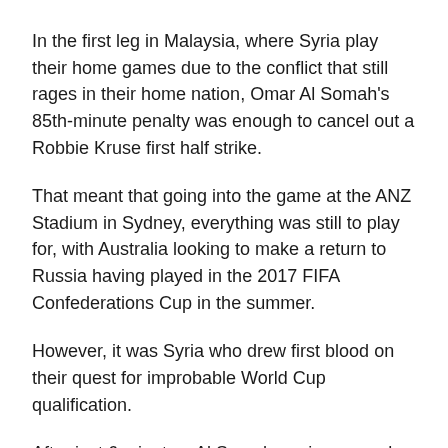In the first leg in Malaysia, where Syria play their home games due to the conflict that still rages in their home nation, Omar Al Somah's 85th-minute penalty was enough to cancel out a Robbie Kruse first half strike.
That meant that going into the game at the ANZ Stadium in Sydney, everything was still to play for, with Australia looking to make a return to Russia having played in the 2017 FIFA Confederations Cup in the summer.
However, it was Syria who drew first blood on their quest for improbable World Cup qualification.
After just 6 minutes, Al Somah again pumped further belief into the Syria dream by lifting the ball over goalkeeper Matthew Ryan from a Tamer Haj Mohamad assist and beautifully finishing off a quick Syria break.